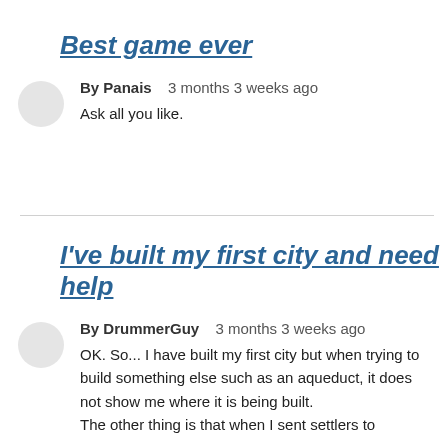Best game ever
By Panais   3 months 3 weeks ago
Ask all you like.
I've built my first city and need help
By DrummerGuy   3 months 3 weeks ago
OK. So... I have built my first city but when trying to build something else such as an aqueduct, it does not show me where it is being built.
The other thing is that when I sent settlers to